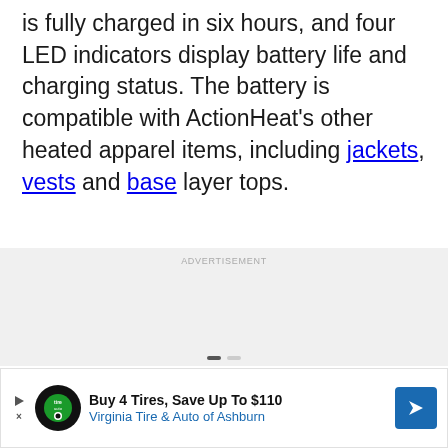is fully charged in six hours, and four LED indicators display battery life and charging status. The battery is compatible with ActionHeat's other heated apparel items, including jackets, vests and base layer tops.
ADVERTISEMENT
[Figure (other): Advertisement banner for Virginia Tire & Auto of Ashburn: Buy 4 Tires, Save Up To $110]